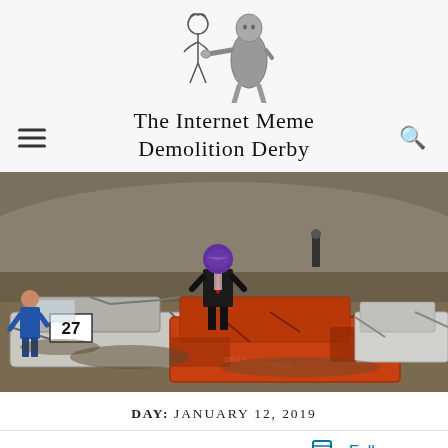[Figure (illustration): Logo illustration: stick figure being punched by a grey 3D figure]
The Internet Meme Demolition Derby
[Figure (photo): Demolition derby photo: man in suit and purple helmet standing on wrecked orange car, number 27 car visible, blue-jacketed person on left, wrecked white car on right, dirt track background]
DAY: JANUARY 12, 2019
[Figure (other): Follow button bar with follow icon and ellipsis menu]